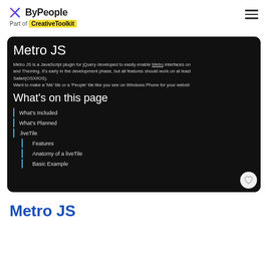ByPeople – Part of CreativeToolkit
[Figure (screenshot): Screenshot of Metro JS documentation page on a dark background showing title 'Metro JS', description text about JavaScript plugin for jQuery, 'What's on this page' section with list items: What's Included, What's Planned, .liveTile, Features, Anatomy of a liveTile, Basic Example]
Metro JS